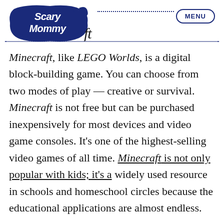Scary Mommy ft — MENU
Minecraft, like LEGO Worlds, is a digital block-building game. You can choose from two modes of play — creative or survival. Minecraft is not free but can be purchased inexpensively for most devices and video game consoles. It's one of the highest-selling video games of all time. Minecraft is not only popular with kids; it's a widely used resource in schools and homeschool circles because the educational applications are almost endless.